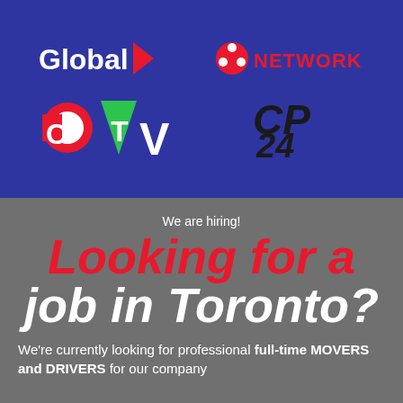[Figure (logo): TV network logos: Global, CBC Network, CTV, CP24 on blue background]
We are hiring!
Looking for a job in Toronto?
We're currently looking for professional full-time MOVERS and DRIVERS for our company